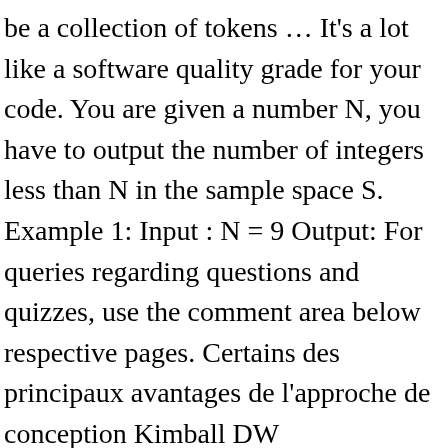be a collection of tokens … It's a lot like a software quality grade for your code. You are given a number N, you have to output the number of integers less than N in the sample space S. Example 1: Input : N = 9 Output: For queries regarding questions and quizzes, use the comment area below respective pages. Certains des principaux avantages de l'approche de conception Kimball DW comprennent: Les avantages de la modélisation dimensionnelle sont qu'elle est rapide à construire car aucune normalisation n'est